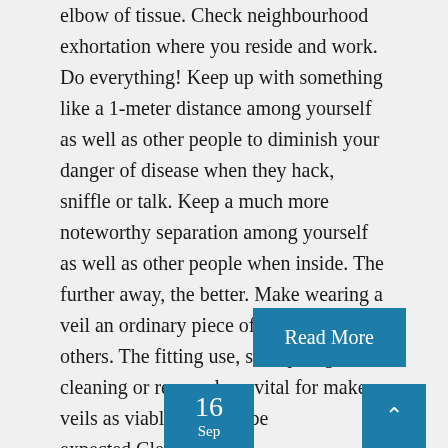elbow of tissue. Check neighbourhood exhortation where you reside and work. Do everything! Keep up with something like a 1-meter distance among yourself as well as other people to diminish your danger of disease when they hack, sniffle or talk. Keep a much more noteworthy separation among yourself as well as other people when inside. The further away, the better. Make wearing a veil an ordinary piece of being around others. The fitting use, stockpiling and cleaning or removal are vital for make veils as viable as could be expected.Clean your ha...
Read More
16
Sep